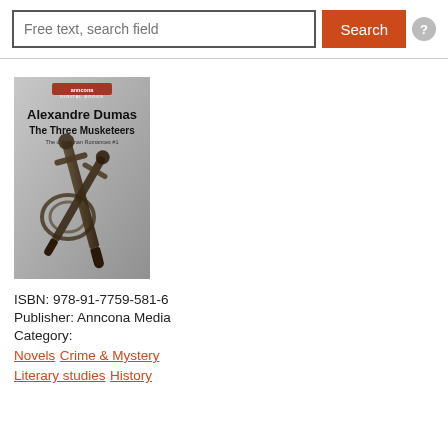Free text, search field
Search
[Figure (photo): Book cover of 'The Three Musketeers' by Alexandre Dumas, published by Anncona Digital Books. Shows two crossed swords/rapiers on a grey background. Text on cover: 'anncona digital books', 'Alexandre Dumas', 'The Three Musketeers', 'The d'Artagnan Romances #1']
ISBN: 978-91-7759-581-6
Publisher: Anncona Media
Category:
Novels Crime & Mystery
Literary studies History